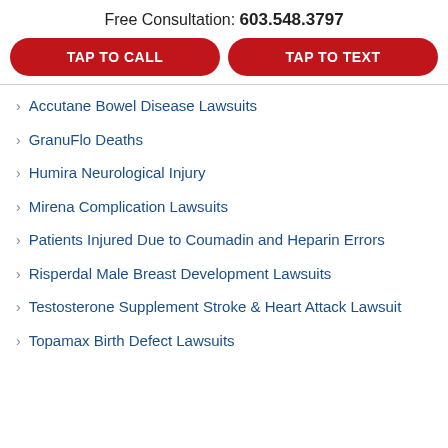Free Consultation: 603.548.3797
[Figure (other): Two red pill-shaped buttons: TAP TO CALL and TAP TO TEXT]
Accutane Bowel Disease Lawsuits
GranuFlo Deaths
Humira Neurological Injury
Mirena Complication Lawsuits
Patients Injured Due to Coumadin and Heparin Errors
Risperdal Male Breast Development Lawsuits
Testosterone Supplement Stroke & Heart Attack Lawsuit
Topamax Birth Defect Lawsuits